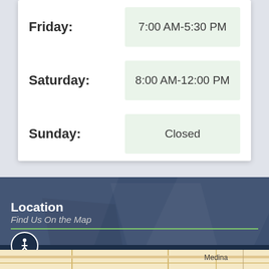| Day | Hours |
| --- | --- |
| Friday: | 7:00 AM-5:30 PM |
| Saturday: | 8:00 AM-12:00 PM |
| Sunday: | Closed |
Location
Find Us On the Map
[Figure (map): Map showing location near Medina]